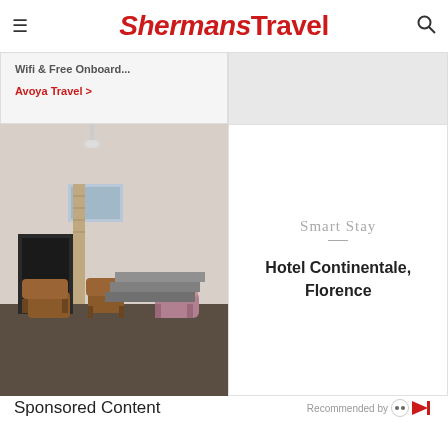ShermansTravel
Wifi & Free Onboard...
Avoya Travel >
[Figure (photo): Hotel lobby interior with fireplace, mid-century modern chairs in brown and pink, artwork on walls, steps leading to upper area]
Smart Stay
Hotel Continentale, Florence
Sponsored Content
Recommended by